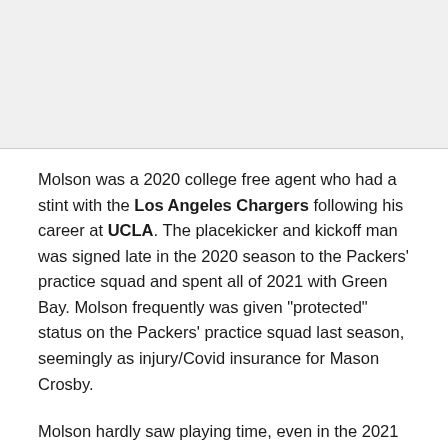[Figure (photo): Image placeholder at top of page]
Molson was a 2020 college free agent who had a stint with the Los Angeles Chargers following his career at UCLA. The placekicker and kickoff man was signed late in the 2020 season to the Packers’ practice squad and spent all of 2021 with Green Bay. Molson frequently was given “protected” status on the Packers’ practice squad last season, seemingly as injury/Covid insurance for Mason Crosby.
Molson hardly saw playing time, even in the 2021 preseason. In the end, he made one extra point and six kickoffs (with one touchback) over his time in Green Bay. Which leads to the Packers’ current kicker...